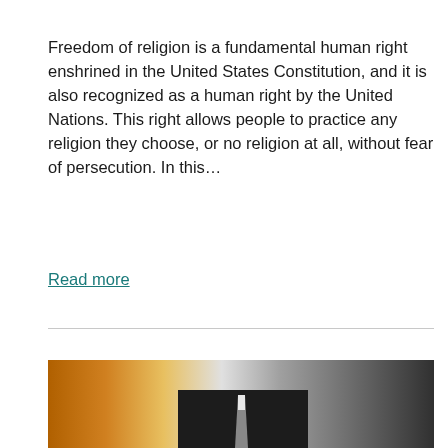Freedom of religion is a fundamental human right enshrined in the United States Constitution, and it is also recognized as a human right by the United Nations. This right allows people to practice any religion they choose, or no religion at all, without fear of persecution. In this…
Read more
[Figure (photo): Partial photo of a person in a dark suit and grey tie, likely in a professional or formal setting, with an orange/golden light effect on the left side]